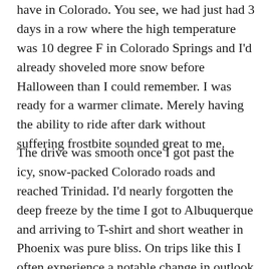have in Colorado. You see, we had just had 3 days in a row where the high temperature was 10 degree F in Colorado Springs and I'd already shoveled more snow before Halloween than I could remember. I was ready for a warmer climate. Merely having the ability to ride after dark without suffering frostbite sounded great to me.
The drive was smooth once I got past the icy, snow-packed Colorado roads and reached Trinidad. I'd nearly forgotten the deep freeze by the time I got to Albuquerque and arriving to T-shirt and short weather in Phoenix was pure bliss. On trips like this I often experience a notable change in outlook once I'm able to put on my sandals, and this one was no exception. It's shocking what a little sunlight on my feet does to my emotional state.